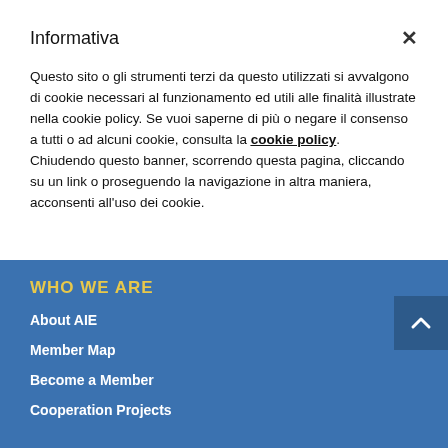Informativa
Questo sito o gli strumenti terzi da questo utilizzati si avvalgono di cookie necessari al funzionamento ed utili alle finalità illustrate nella cookie policy. Se vuoi saperne di più o negare il consenso a tutti o ad alcuni cookie, consulta la cookie policy. Chiudendo questo banner, scorrendo questa pagina, cliccando su un link o proseguendo la navigazione in altra maniera, acconsenti all'uso dei cookie.
WHO WE ARE
About AIE
Member Map
Become a Member
Cooperation Projects